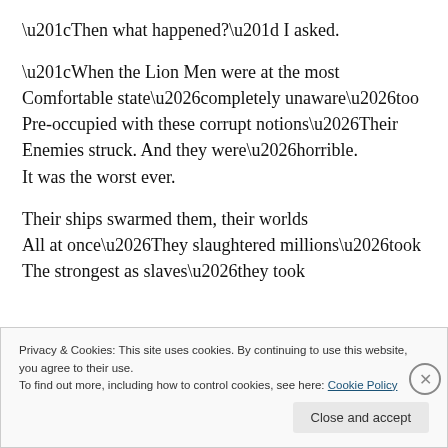“Then what happened?” I asked.
“When the Lion Men were at the most Comfortable state…completely unaware…too Pre-occupied with these corrupt notions…Their Enemies struck. And they were…horrible. It was the worst ever.
Their ships swarmed them, their worlds All at once…They slaughtered millions…took The strongest as slaves…they took
Privacy & Cookies: This site uses cookies. By continuing to use this website, you agree to their use.
To find out more, including how to control cookies, see here: Cookie Policy